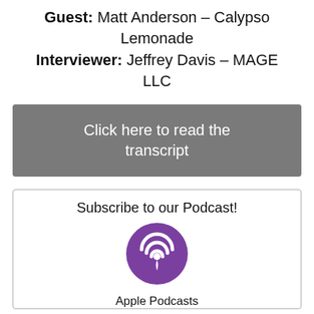Guest: Matt Anderson – Calypso Lemonade
Interviewer: Jeffrey Davis – MAGE LLC
Click here to read the transcript
Subscribe to our Podcast!
[Figure (logo): Purple circular Apple Podcasts icon with podcast signal/microphone symbol in white]
Apple Podcasts